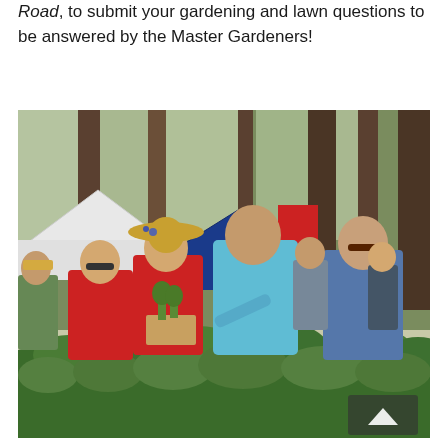Road, to submit your gardening and lawn questions to be answered by the Master Gardeners!
[Figure (photo): Outdoor gardening market or plant sale in a wooded setting. People browse tables of green plants and seedlings. A woman in a light blue jacket reaches toward plants, a woman in red holds a cardboard box of plants and wears a straw hat with flowers, another woman in red jacket wears sunglasses, and an elderly man in a blue shirt stands to the right. White and blue canopy tents are visible in the background among tall pine trees.]